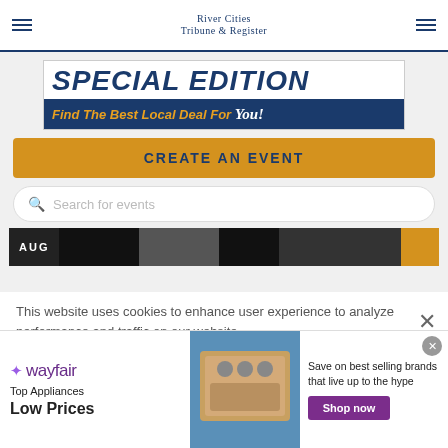River Cities Tribune & Register
[Figure (infographic): Special Edition banner ad: dark navy background with 'SPECIAL EDITION' in large bold italic white/navy text on white top band, and 'Find The Best Local Deal For You!' in gold italic text on navy bottom band]
CREATE AN EVENT
Search for events
AUG
This website uses cookies to enhance user experience to analyze performance and traffic on our website.
[Figure (infographic): Infolinks badge in blue]
[Figure (infographic): Wayfair advertisement: logo, Top Appliances Low Prices text, appliance image, Save on best selling brands that live up to the hype, Shop now button]